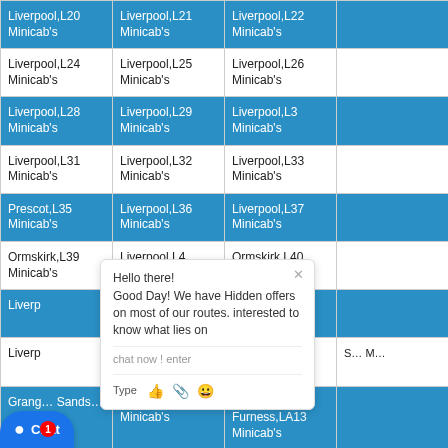| Liverpool,L20 Minicab's | Liverpool,L21 Minicab's | Liverpool,L22 Minicab's | … |
| Liverpool,L24 Minicab's | Liverpool,L25 Minicab's | Liverpool,L26 Minicab's | … |
| Liverpool,L28 Minicab's | Liverpool,L29 Minicab's | Liverpool,L3 Minicab's | … |
| Liverpool,L31 Minicab's | Liverpool,L32 Minicab's | Liverpool,L33 Minicab's | … |
| Prescot,L35 Minicab's | Liverpool,L36 Minicab's | Liverpool,L37 Minicab's | … |
| Ormskirk,L39 Minicab's | Liverpool,L4 Minicab's | Ormskirk,L40 Minicab's | … |
| Liverp… | Liverpool,L69 Minicab's | Liverpool,L7 Minicab's | … |
| Liverp… | Liverpool,L9 Minicab's | Lancaster,LA1 Minicab's | … |
| Grang… Sands… | Ulverston,LA12 Minicab's | Barrow-in-Furness,LA13 Minicab's | … |
| Dalton-in-… 15 Minicab's | Askam-in-furness,LA16 Minicab's | Kirkby-in-Furness,LA17 Minicab's | … |